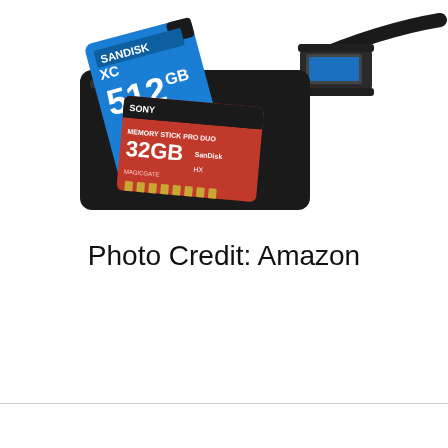[Figure (photo): A USB card reader with a 512GB blue SD card and a red Memory Stick PRO Duo card inserted, with a black USB 3.0 cable extending to the right.]
Photo Credit: Amazon